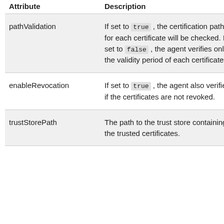| Attribute | Description |
| --- | --- |
| pathValidation | If set to true , the certification path for each certificate will be checked. If set to false , the agent verifies only the validity period of each certificate. |
| enableRevocation | If set to true , the agent also verifies if the certificates are not revoked. |
| trustStorePath | The path to the trust store containing the trusted certificates. |